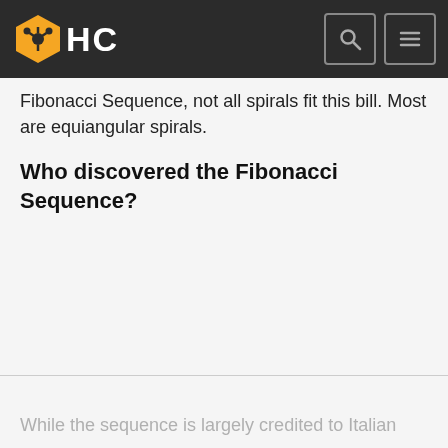HC
Fibonacci Sequence, not all spirals fit this bill. Most are equiangular spirals.
Who discovered the Fibonacci Sequence?
While the sequence is largely credited to Italian